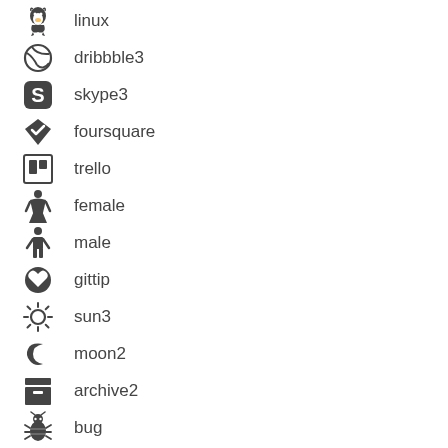linux
dribbble3
skype3
foursquare
trello
female
male
gittip
sun3
moon2
archive2
bug
vk2